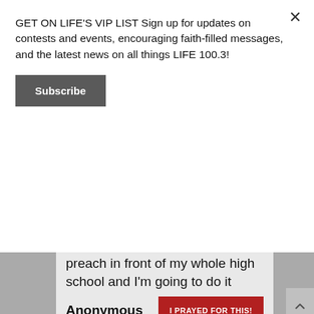GET ON LIFE'S VIP LIST Sign up for updates on contests and events, encouraging faith-filled messages, and the latest news on all things LIFE 100.3!
Subscribe
preach in front of my whole high school and I'm going to do it thanks to God. Please pray for me to have courage and for God to work through me in order to help my fellow classmates.
Posted on May 25th, 2022
Anonymous
I PRAYED FOR THIS!